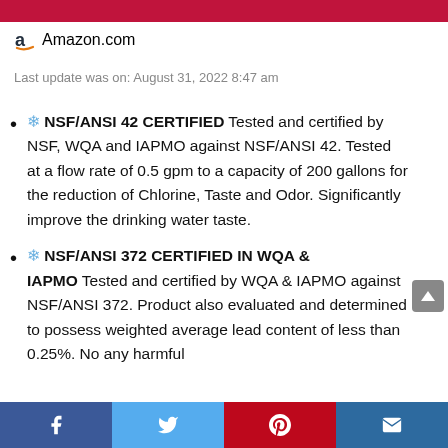Amazon.com
Last update was on: August 31, 2022 8:47 am
❄️ NSF/ANSI 42 CERTIFIED Tested and certified by NSF, WQA and IAPMO against NSF/ANSI 42. Tested at a flow rate of 0.5 gpm to a capacity of 200 gallons for the reduction of Chlorine, Taste and Odor. Significantly improve the drinking water taste.
❄️ NSF/ANSI 372 CERTIFIED IN WQA & IAPMO Tested and certified by WQA & IAPMO against NSF/ANSI 372. Product also evaluated and determined to possess weighted average lead content of less than 0.25%. No any harmful
Facebook | Twitter | Pinterest | Email